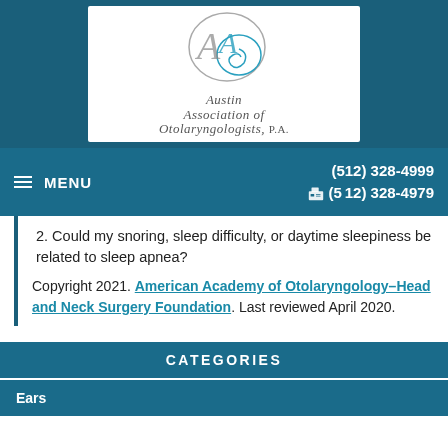[Figure (logo): Austin Association of Otolaryngologists, P.A. logo with stylized AA monogram circles in teal and gray]
MENU | (512) 328-4999 | (512) 328-4979
2. Could my snoring, sleep difficulty, or daytime sleepiness be related to sleep apnea?
Copyright 2021. American Academy of Otolaryngology–Head and Neck Surgery Foundation. Last reviewed April 2020.
CATEGORIES
Ears